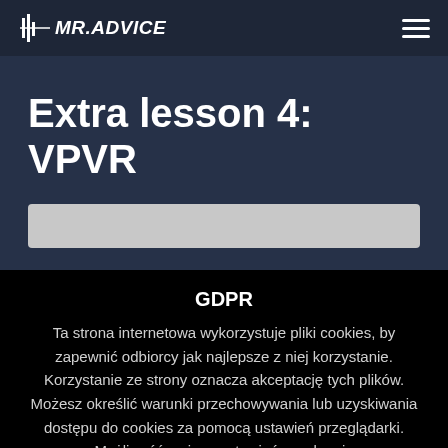MR.ADVICE
Extra lesson 4: VPVR
[Figure (screenshot): Video player placeholder — light grey rectangle partially visible]
GDPR
Ta strona internetowa wykorzystuje pliki cookies, by zapewnić odbiorcy jak najlepsze z niej korzystanie. Korzystanie ze strony oznacza akceptację tych plików. Możesz określić warunki przechowywania lub uzyskiwania dostępu do cookies za pomocą ustawień przeglądarki. Możliwość zmiany ustawień w zakresie